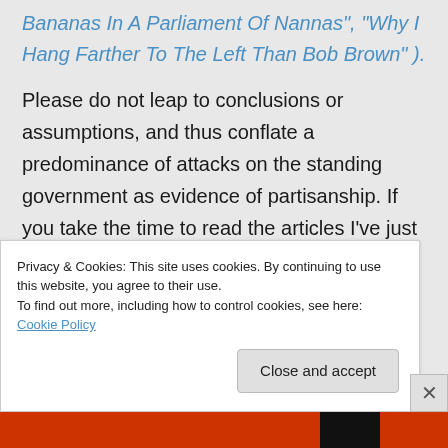Bananas In A Parliament Of Nannas", "Why I Hang Farther To The Left Than Bob Brown" ).
Please do not leap to conclusions or assumptions, and thus conflate a predominance of attacks on the standing government as evidence of partisanship. If you take the time to read the articles I've just linked (as just a few examples), you should begin to recognise that this blog
Privacy & Cookies: This site uses cookies. By continuing to use this website, you agree to their use.
To find out more, including how to control cookies, see here: Cookie Policy